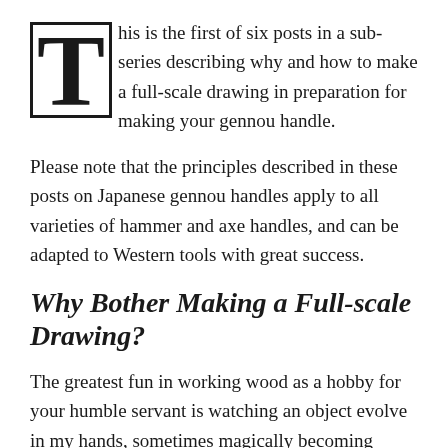This is the first of six posts in a sub-series describing why and how to make a full-scale drawing in preparation for making your gennou handle.
Please note that the principles described in these posts on Japanese gennou handles apply to all varieties of hammer and axe handles, and can be adapted to Western tools with great success.
Why Bother Making a Full-scale Drawing?
The greatest fun in working wood as a hobby for your humble servant is watching an object evolve in my hands, sometimes magically becoming better than what I had imagined it would be. Many Gentle Readers have